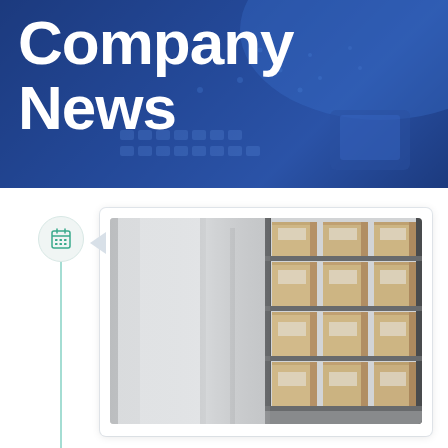Company News
[Figure (photo): Blue banner background with laptop/desk texture overlay, showing 'Company News' title]
[Figure (photo): Warehouse shelves with stacked cardboard boxes, shown in a card with rounded border and drop shadow, with a calendar icon and vertical timeline line on the left]